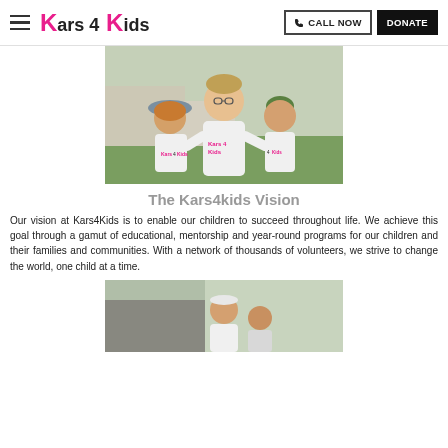Kars 4 Kids — CALL NOW | DONATE
[Figure (photo): A smiling adult man with two children, all wearing Kars4Kids branded white t-shirts, outdoors.]
The Kars4kids Vision
Our vision at Kars4Kids is to enable our children to succeed throughout life. We achieve this goal through a gamut of educational, mentorship and year-round programs for our children and their families and communities. With a network of thousands of volunteers, we strive to change the world, one child at a time.
[Figure (photo): Partial photo of children outdoors, bottom of page, cropped.]